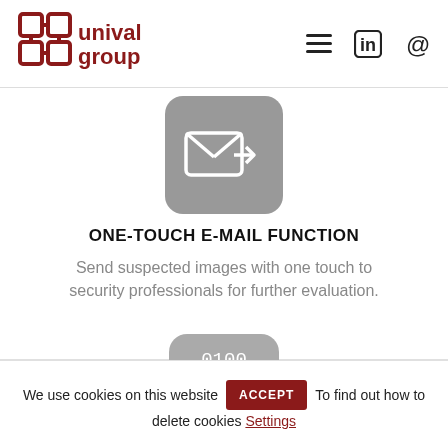Unival Group navigation header with logo, hamburger menu, LinkedIn icon, and email icon
[Figure (illustration): Grey rounded square icon with envelope and forward arrow symbol representing one-touch email function]
ONE-TOUCH E-MAIL FUNCTION
Send suspected images with one touch to security professionals for further evaluation.
[Figure (illustration): Grey rounded square icon with binary digits: 0100 0011 1001 representing digital/encryption feature]
We use cookies on this website  ACCEPT  To find out how to delete cookies Settings